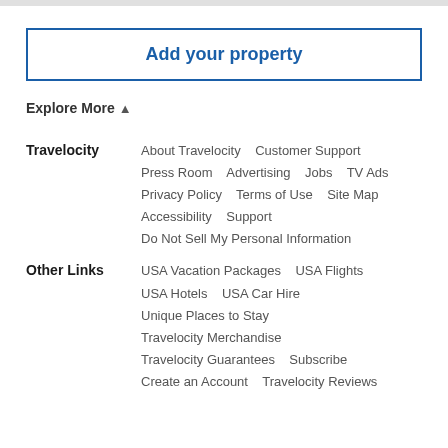Add your property
Explore More ↑
Travelocity    About Travelocity   Customer Support   Press Room   Advertising   Jobs   TV Ads   Privacy Policy   Terms of Use   Site Map   Accessibility   Support   Do Not Sell My Personal Information
Other Links    USA Vacation Packages   USA Flights   USA Hotels   USA Car Hire   Unique Places to Stay   Travelocity Merchandise   Travelocity Guarantees   Subscribe   Create an Account   Travelocity Reviews